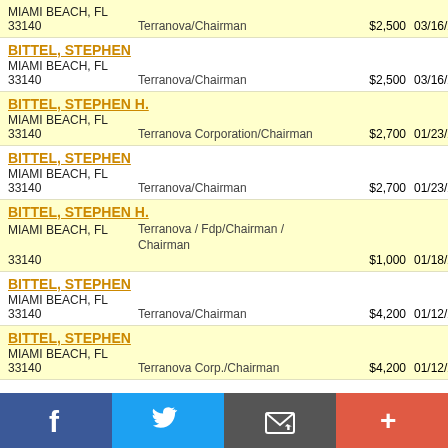| Name/City/Zip | Employer/Title | Amount | Date | Type | Code |
| --- | --- | --- | --- | --- | --- |
| MIAMI BEACH, FL / 33140 | Terranova/Chairman | $2,500 | 03/16/2017 | P | AC... |
| BITTEL, STEPHEN / MIAMI BEACH, FL / 33140 | Terranova/Chairman | $2,500 | 03/16/2017 | P | FE... |
| BITTEL, STEPHEN H. / MIAMI BEACH, FL / 33140 | Terranova Corporation/Chairman | $2,700 | 01/23/2017 | P | KA... |
| BITTEL, STEPHEN / MIAMI BEACH, FL / 33140 | Terranova/Chairman | $2,700 | 01/23/2017 | P | AC... |
| BITTEL, STEPHEN H. / MIAMI BEACH, FL / 33140 | Terranova / Fdp/Chairman / Chairman | $1,000 | 01/18/2017 | P | CH... |
| BITTEL, STEPHEN / MIAMI BEACH, FL / 33140 | Terranova/Chairman | $4,200 | 01/12/2017 | P | AC... |
| BITTEL, STEPHEN / MIAMI BEACH, FL / 33140 | Terranova Corp./Chairman | $4,200 | 01/12/2017 | P | PU... |
[Figure (other): Social sharing bar with Facebook, Twitter, Email, and More buttons]